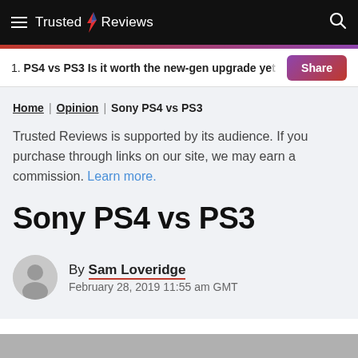Trusted Reviews
1. PS4 vs PS3 Is it worth the new-gen upgrade yet
Home | Opinion | Sony PS4 vs PS3
Trusted Reviews is supported by its audience. If you purchase through links on our site, we may earn a commission. Learn more.
Sony PS4 vs PS3
By Sam Loveridge
February 28, 2019 11:55 am GMT
[Figure (photo): Bottom image strip partially visible]